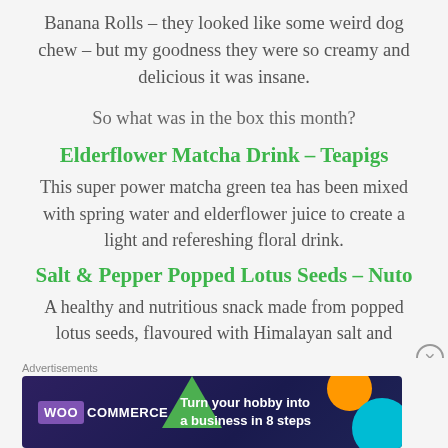Banana Rolls – they looked like some weird dog chew – but my goodness they were so creamy and delicious it was insane.
So what was in the box this month?
Elderflower Matcha Drink – Teapigs
This super power matcha green tea has been mixed with spring water and elderflower juice to create a light and refereshing floral drink.
Salt & Pepper Popped Lotus Seeds – Nuto
A healthy and nutritious snack made from popped lotus seeds, flavoured with Himalayan salt and
[Figure (other): WooCommerce advertisement banner: 'Turn your hobby into a business in 8 steps' with colorful geometric shapes on dark background]